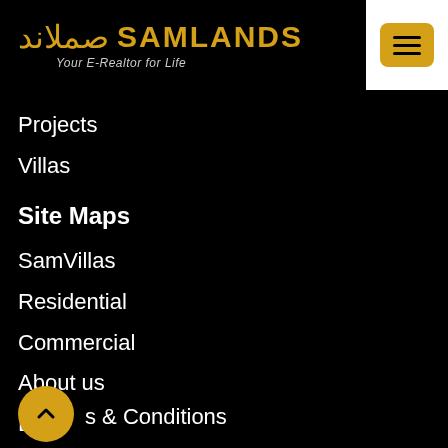[Figure (logo): Samlands logo with Arabic calligraphy and yellow text reading SAMLANDS, tagline: Your E-Realtor for Life]
[Figure (other): Yellow hamburger menu button on white background in top-right corner]
Projects
Villas
Site Maps
SamVillas
Residential
Commercial
About us
Blog
Contact us
s & Conditions